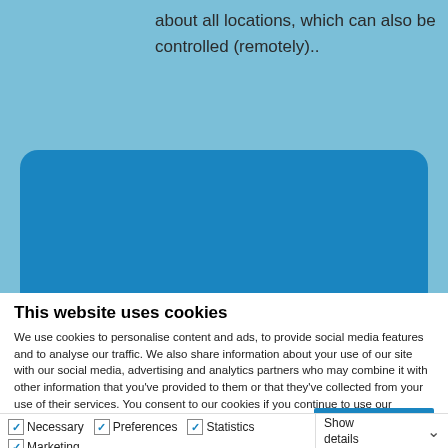about all locations, which can also be controlled (remotely)..
[Figure (logo): maze·line logo with wifi/signal arc icon above; tagline: projectmanagement marketing & print]
This website uses cookies
We use cookies to personalise content and ads, to provide social media features and to analyse our traffic. We also share information about your use of our site with our social media, advertising and analytics partners who may combine it with other information that you've provided to them or that they've collected from your use of their services. You consent to our cookies if you continue to use our website.
OK
Necessary  Preferences  Statistics  Marketing  Show details